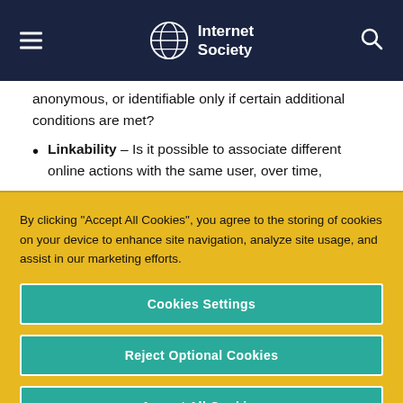Internet Society
anonymous, or identifiable only if certain additional conditions are met?
Linkability – Is it possible to associate different online actions with the same user, over time,
By clicking “Accept All Cookies”, you agree to the storing of cookies on your device to enhance site navigation, analyze site usage, and assist in our marketing efforts.
Cookies Settings
Reject Optional Cookies
Accept All Cookies